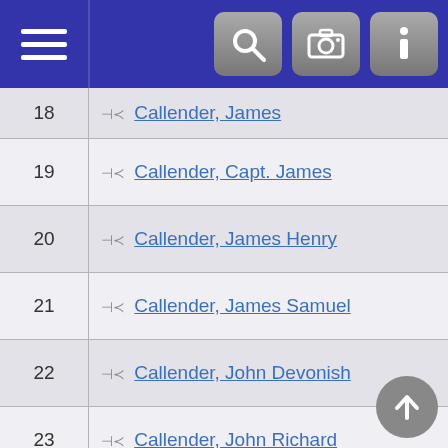Navigation bar with menu, search, camera, and info icons
| # | Name |
| --- | --- |
| 18 | Callender, James |
| 19 | Callender, Capt. James |
| 20 | Callender, James Henry |
| 21 | Callender, James Samuel |
| 22 | Callender, John Devonish |
| 23 | Callender, John Richard |
| 24 | Callender, John Richard II |
| 25 | Callender, John Richard I |
| 26 | Callender, John Spencer |
| 27 | Callender, Joseph Timothy |
| 28 | Callender, Josephine Rogers |
| 29 | Callender, Margaret Anne |